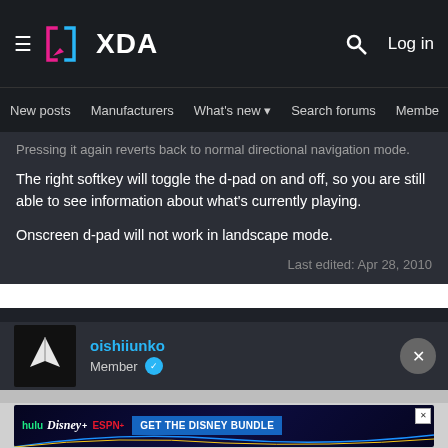XDA Developers — New posts | Manufacturers | What's new | Search forums | Members
Pressing it again reverts back to normal directional navigation mode.
The right softkey will toggle the d-pad on and off, so you are still able to see information about what's currently playing.
Onscreen d-pad will not work in landscape mode.
Last edited: Apr 28, 2010
oishiiunko
Member
[Figure (screenshot): Disney Bundle advertisement banner with Hulu, Disney+, ESPN+ logos and GET THE DISNEY BUNDLE CTA]
Bugs + errors + faults